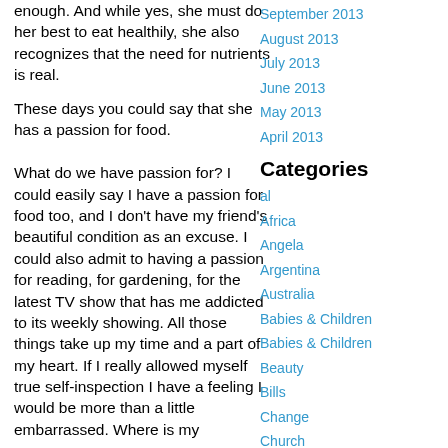enough. And while yes, she must do her best to eat healthily, she also recognizes that the need for nutrients is real.
These days you could say that she has a passion for food.
What do we have passion for? I could easily say I have a passion for food too, and I don't have my friend's beautiful condition as an excuse. I could also admit to having a passion for reading, for gardening, for the latest TV show that has me addicted to its weekly showing. All those things take up my time and a part of my heart. If I really allowed myself true self-inspection I have a feeling I would be more than a little embarrassed. Where is my
September 2013
August 2013
July 2013
June 2013
May 2013
April 2013
Categories
al
Africa
Angela
Argentina
Australia
Babies & Children
Babies & Children
Beauty
Bills
Change
Church
Death
Depression